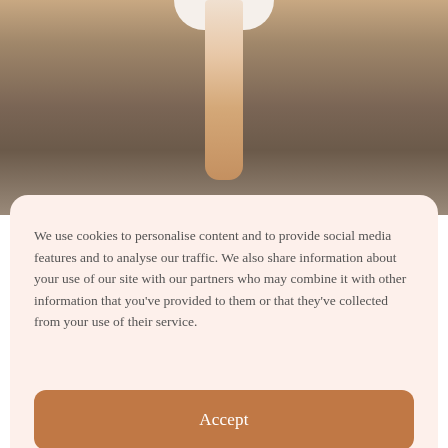[Figure (photo): Partial view of a person's bare leg and foot standing on sandy/gravelly ground, wearing a white garment. Only the lower leg is visible against the textured ground background.]
We use cookies to personalise content and to provide social media features and to analyse our traffic. We also share information about your use of our site with our partners who may combine it with other information that you've provided to them or that they've collected from your use of their service.
Accept
Dismiss
Preferences
Privacy policy   Privacy policy   Privacy policy